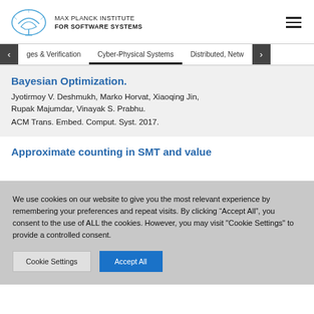MAX PLANCK INSTITUTE FOR SOFTWARE SYSTEMS
ges & Verification   Cyber-Physical Systems   Distributed, Netw
Bayesian Optimization.
Jyotirmoy V. Deshmukh, Marko Horvat, Xiaoqing Jin, Rupak Majumdar, Vinayak S. Prabhu.
ACM Trans. Embed. Comput. Syst. 2017.
Approximate counting in SMT and value
We use cookies on our website to give you the most relevant experience by remembering your preferences and repeat visits. By clicking “Accept All”, you consent to the use of ALL the cookies. However, you may visit "Cookie Settings" to provide a controlled consent.